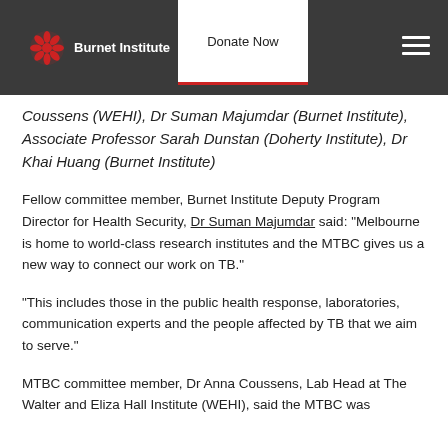Burnet Institute | Donate Now
Coussens (WEHI), Dr Suman Majumdar (Burnet Institute), Associate Professor Sarah Dunstan (Doherty Institute), Dr Khai Huang (Burnet Institute)
Fellow committee member, Burnet Institute Deputy Program Director for Health Security, Dr Suman Majumdar said: “Melbourne is home to world-class research institutes and the MTBC gives us a new way to connect our work on TB.”
“This includes those in the public health response, laboratories, communication experts and the people affected by TB that we aim to serve.”
MTBC committee member, Dr Anna Coussens, Lab Head at The Walter and Eliza Hall Institute (WEHI), said the MTBC was